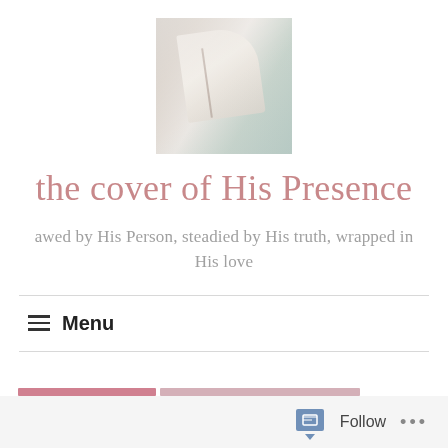[Figure (photo): A person holding an open book (Bible) with soft, blurred natural light background in muted tones of beige, grey, and green.]
the cover of His Presence
awed by His Person, steadied by His truth, wrapped in His love
≡ Menu
Follow ...